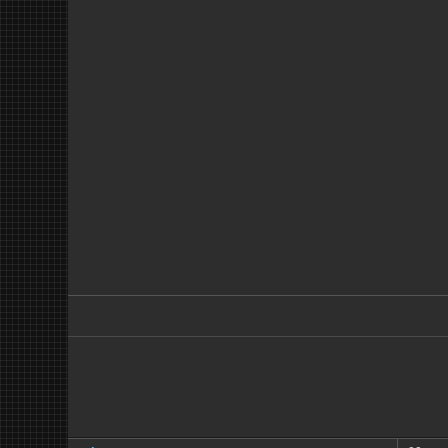[Figure (screenshot): Dark-themed forum page screenshot. Left sidebar has a dark pixel-grid pattern. Main area shows two content panels side by side (top section, mostly empty/dark). Below is a toolbar strip. Then a 'Thankful users:' section listing colored usernames: George (green), ISAI (red), Jay Gatsby (green), jet kai (green), King Zeus (white), Luke132 (light blue), Rusko, T... with small pixel-art avatar icons. Below that is a bright blue header bar, then the start of a post row showing 'grian' (blue username) with online dot on the left, and '06-24-2022, 01:32 AM' on the right.]
Thankful users:
George, ISAI, Jay Gatsby, jet kai, King Zeus, Luke132, Rusko, T...
grian • 06-24-2022, 01:32 AM